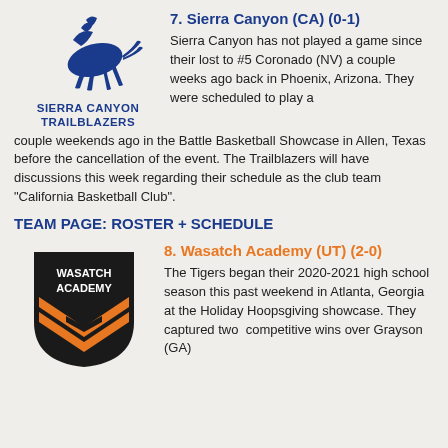[Figure (logo): Sierra Canyon Trailblazers logo with blue horse above text reading SIERRA CANYON TRAILBLAZERS]
7. Sierra Canyon (CA) (0-1)
Sierra Canyon has not played a game since their lost to #5 Coronado (NV) a couple weeks ago back in Phoenix, Arizona. They were scheduled to play a couple weekends ago in the Battle Basketball Showcase in Allen, Texas before the cancellation of the event. The Trailblazers will have discussions this week regarding their schedule as the club team "California Basketball Club".
TEAM PAGE: ROSTER + SCHEDULE
[Figure (logo): Wasatch Academy shield logo with orange and black colors, text reading WASATCH ACADEMY]
8. Wasatch Academy (UT) (2-0)
The Tigers began their 2020-2021 high school season this past weekend in Atlanta, Georgia at the Holiday Hoopsgiving showcase. They captured two competitive wins over Grayson (GA)